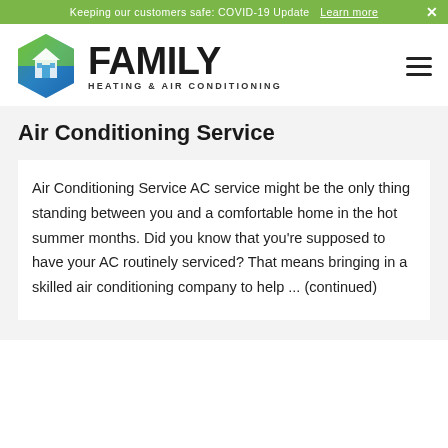Keeping our customers safe: COVID-19 Update  Learn more  ✕
[Figure (logo): Family Heating & Air Conditioning hexagon logo with house icon and green/blue gradient, alongside bold text FAMILY and subtitle HEATING & AIR CONDITIONING]
Air Conditioning Service
Air Conditioning Service AC service might be the only thing standing between you and a comfortable home in the hot summer months. Did you know that you're supposed to have your AC routinely serviced? That means bringing in a skilled air conditioning company to help ... (continued)